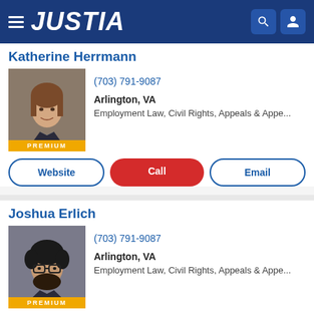JUSTIA
Katherine Herrmann
(703) 791-9087
Arlington, VA
Employment Law, Civil Rights, Appeals & Appe...
Website | Call | Email
Joshua Erlich
(703) 791-9087
Arlington, VA
Employment Law, Civil Rights, Appeals & Appe...
Website | Call | Email